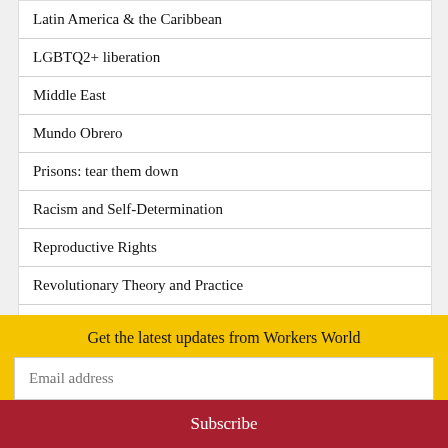Latin America & the Caribbean
LGBTQ2+ liberation
Middle East
Mundo Obrero
Prisons: tear them down
Racism and Self-Determination
Reproductive Rights
Revolutionary Theory and Practice
Sports, Arts and Culture
Stop imperialist war and occupation
Top
Get the latest updates from Workers World
Email address
Subscribe